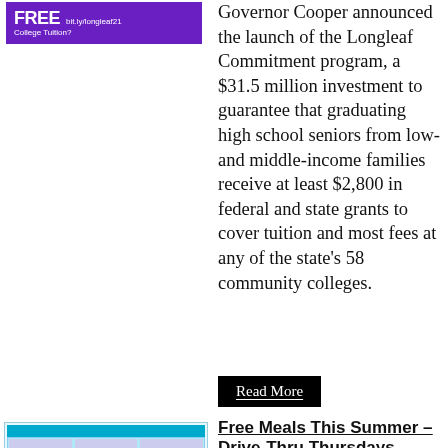[Figure (infographic): Purple banner with FREE College Tuition text and bit.ly/longleaf21 URL]
Governor Cooper announced the launch of the Longleaf Commitment program, a $31.5 million investment to guarantee that graduating high school seniors from low- and middle-income families receive at least $2,800 in federal and state grants to cover tuition and most fees at any of the state's 58 community colleges.
Read More
[Figure (infographic): Free Meals Drive Thru Thursdays flyer with schedule table]
Free Meals This Summer - Drive-Thru Thursdays
06/03/2021
Starting next week on June 10th, Transylvania County Schools will once again offer meal bundles at our new "Drive-Through